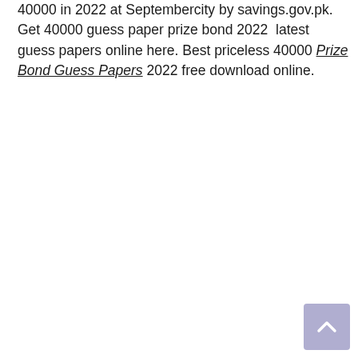40000 in 2022 at Septembercity by savings.gov.pk. Get 40000 guess paper prize bond 2022  latest guess papers online here. Best priceless 40000 Prize Bond Guess Papers 2022 free download online.